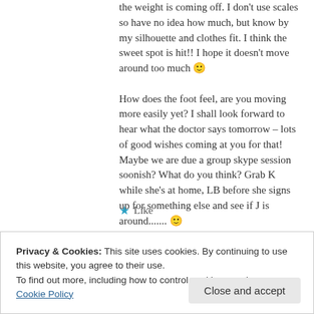the weight is coming off. I don't use scales so have no idea how much, but know by my silhouette and clothes fit. I think the sweet spot is hit!! I hope it doesn't move around too much 🙂
How does the foot feel, are you moving more easily yet? I shall look forward to hear what the doctor says tomorrow – lots of good wishes coming at you for that! Maybe we are due a group skype session soonish? What do you think? Grab K while she's at home, LB before she signs up for something else and see if J is around....... 🙂
★ Like
Privacy & Cookies: This site uses cookies. By continuing to use this website, you agree to their use.
To find out more, including how to control cookies, see here: Cookie Policy
Close and accept